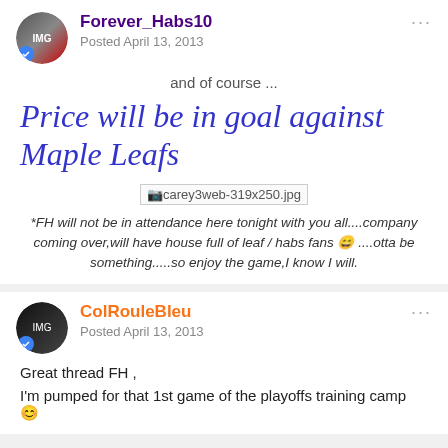Forever_Habs10
Posted April 13, 2013
and of course ...
Price will be in goal against Maple Leafs
[Figure (photo): Image placeholder: carey3web-319x250.jpg]
*FH will not be in attendance here tonight with you all....company coming over,will have house full of leaf / habs fans 😄 ....otta be something.....so enjoy the game,I know I will.
ColRouleBleu
Posted April 13, 2013
Great thread FH ,
I'm pumped for that 1st game of the playoffs training camp 😊